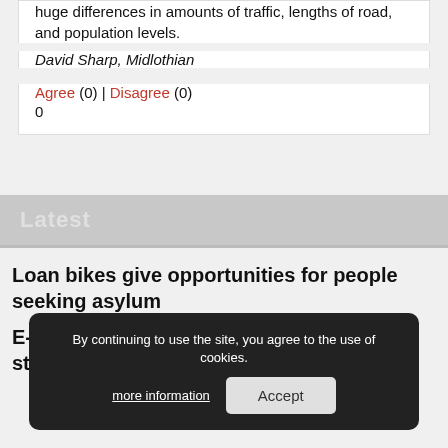huge differences in amounts of traffic, lengths of road, and population levels.
David Sharp, Midlothian
Agree (0) | Disagree (0)
0
Latest
Loan bikes give opportunities for people seeking asylum
E-bikes to help Santander Cycles go from strength to strength
By continuing to use the site, you agree to the use of cookies. more information
Accept